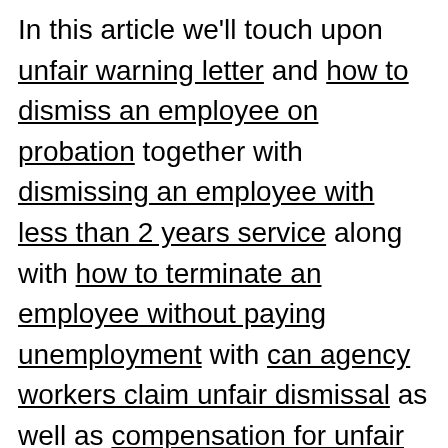In this article we'll touch upon unfair warning letter and how to dismiss an employee on probation together with dismissing an employee with less than 2 years service along with how to terminate an employee without paying unemployment with can agency workers claim unfair dismissal as well as compensation for unfair dismissal uk and quitting